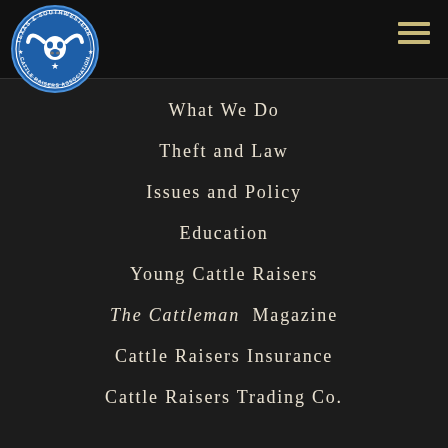[Figure (logo): Texas and Southwestern Cattle Raisers Association circular logo with longhorn skull and star on blue background]
What We Do
Theft and Law
Issues and Policy
Education
Young Cattle Raisers
The Cattleman Magazine
Cattle Raisers Insurance
Cattle Raisers Trading Co.